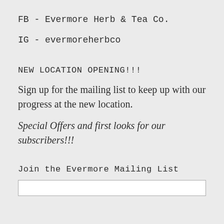FB - Evermore Herb & Tea Co.
IG - evermoreherbco
NEW LOCATION OPENING!!!
Sign up for the mailing list to keep up with our progress at the new location.
Special Offers and first looks for our subscribers!!!
Join the Evermore Mailing List